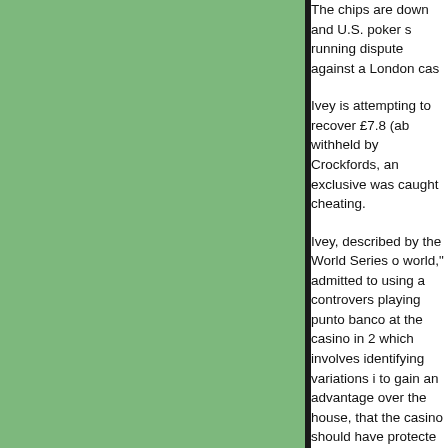The chips are down and U.S. poker star Phil Ivey is coming to the end of a long-running dispute against a London casino.
Ivey is attempting to recover £7.8 (about $10 million) in winnings withheld by Crockfords, an exclusive London casino, which claims he was caught cheating.
Ivey, described by the World Series of Poker as "the best player in the world," admitted to using a controversial technique called edge-sorting while playing punto banco at the casino in 2012. The technique, which involves identifying variations in the patterns on the backs of cards to gain an advantage over the house, was used by Ivey, who argued that the casino should have protected against it.
His argument was dismissed by the UK Court of Appeal last November, however, which upheld that edge-sorting was cheating and that Ivey had "achieved a dishonest outcome" by using the facilities for the game without Crockfords' knowledge.
Ivey is now making one last throw of the dice after the UK Supreme Court, the highest court for civil cases, granted him permission to appeal, the Daily Telegraph reported. A spokesman for Ivey told The American Lawyer that the hearing is now to be heard by that court and that the case is likely to be decided before the end of 2016.
Ivey said in a statement that continuing the case is important to the integrity of the game, insisting that he believed that...